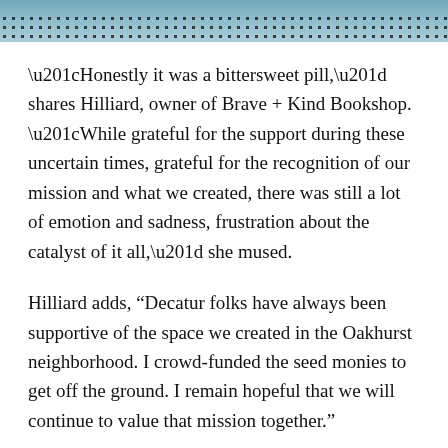[Figure (photo): Top portion of a photo showing a person wearing a leopard/dalmatian print top, cropped at the bottom of the image strip.]
“Honestly it was a bittersweet pill,” shares Hilliard, owner of Brave + Kind Bookshop. “While grateful for the support during these uncertain times, grateful for the recognition of our mission and what we created, there was still a lot of emotion and sadness, frustration about the catalyst of it all,” she mused.
Hilliard adds, “Decatur folks have always been supportive of the space we created in the Oakhurst neighborhood. I crowd-funded the seed monies to get off the ground. I remain hopeful that we will continue to value that mission together.”
The pandemic has been tough on all business owners and the city has worked to ensure businesses continue